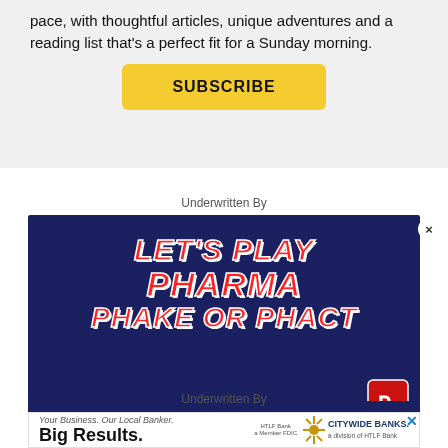pace, with thoughtful articles, unique adventures and a reading list that's a perfect fit for a Sunday morning.
[Figure (other): Yellow SUBSCRIBE button]
Underwritten By
[Figure (advertisement): Pharma ad: LET'S PLAY PHARMA PHAKE OR PHACT. PHAKE OR PHACT? Health insurers and pharmacy middlemen siphoned $350b from American consumers last year in potential savings. PHACT! Drug makers paid $350b in 'rebates' to...]
Underwritten By
[Figure (advertisement): Citywide Banks ad: Your Business. Our Local Banker. Big Results. HTLF Bank a Member FDIC. CITYWIDE BANKS. a division of HTLF Bank.]